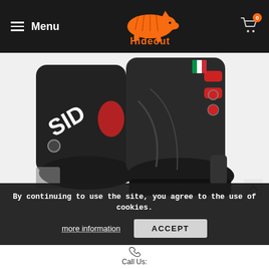Menu | Hideout | Cart 0
[Figure (photo): Two black motorcycle boots (SIDI brand) displayed side by side against a white background. The boots feature red accents, buckle closures, and Italian flag details on the upper. White SIDI logo visible on the left boot.]
By continuing to use the site, you agree to the use of cookies.
more information
ACCEPT
Call Us: